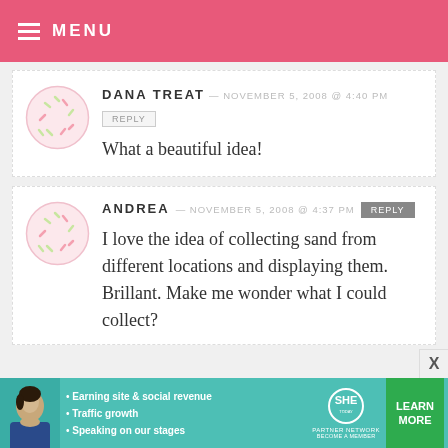MENU
DANA TREAT — NOVEMBER 5, 2008 @ 4:40 PM
REPLY
What a beautiful idea!
ANDREA — NOVEMBER 5, 2008 @ 4:37 PM
REPLY
I love the idea of collecting sand from different locations and displaying them. Brillant. Make me wonder what I could collect?
[Figure (infographic): SHE Partner Network advertisement banner with photo of woman, bullet points about earning site & social revenue, traffic growth, speaking on stages, SHE logo, and LEARN MORE button]